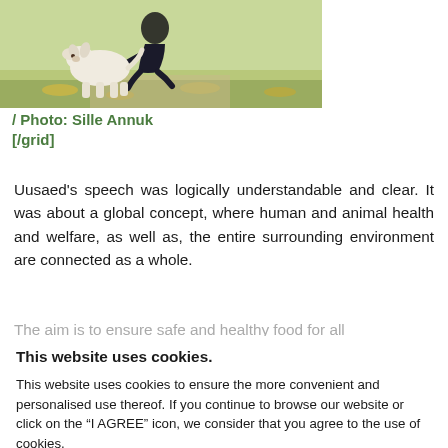[Figure (photo): Person crouching with a white/cream colored dog (Labrador) outdoors on a path with fallen yellow leaves and green grass in the background]
/ Photo: Sille Annuk
[/grid]
Uusaed's speech was logically understandable and clear. It was about a global concept, where human and animal health and welfare, as well as, the entire surrounding environment are connected as a whole. The aim is to ensure safe and healthy food for all
This website uses cookies.

This website uses cookies to ensure the more convenient and personalised use thereof. If you continue to browse our website or click on the “I AGREE” icon, we consider that you agree to the use of cookies.
Settings
I agree